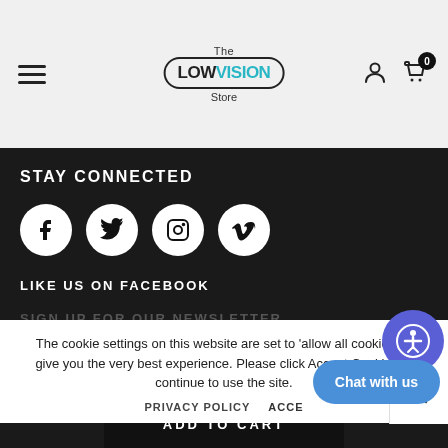The LowVision Store
STAY CONNECTED
[Figure (illustration): Social media icons: Facebook, Twitter, Instagram, Vimeo]
LIKE US ON FACEBOOK
SIGN UP
The cookie settings on this website are set to 'allow all cookies' to give you the very best experience. Please click Accept Cookies to continue to use the site.
PRIVACY POLICY   ACCEPT COOKIES
ADD TO CART